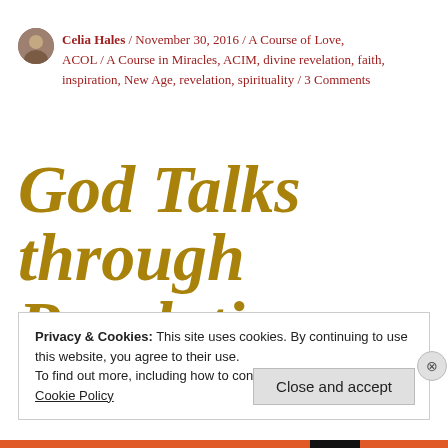Celia Hales / November 30, 2016 / A Course of Love, ACOL / A Course in Miracles, ACIM, divine revelation, faith, inspiration, New Age, revelation, spirituality / 3 Comments
God Talks through Revelation
Privacy & Cookies: This site uses cookies. By continuing to use this website, you agree to their use.
To find out more, including how to control cookies, see here:
Cookie Policy